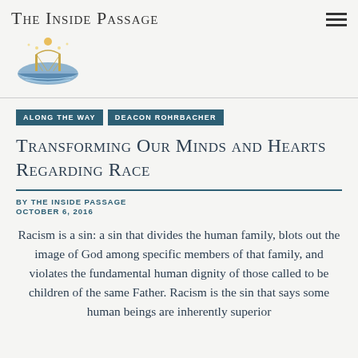The Inside Passage
[Figure (logo): The Inside Passage logo: a blue and gold bridge/boat illustration in an oval shape]
ALONG THE WAY   DEACON ROHRBACHER
Transforming Our Minds and Hearts Regarding Race
BY THE INSIDE PASSAGE
OCTOBER 6, 2016
Racism is a sin: a sin that divides the human family, blots out the image of God among specific members of that family, and violates the fundamental human dignity of those called to be children of the same Father. Racism is the sin that says some human beings are inherently superior